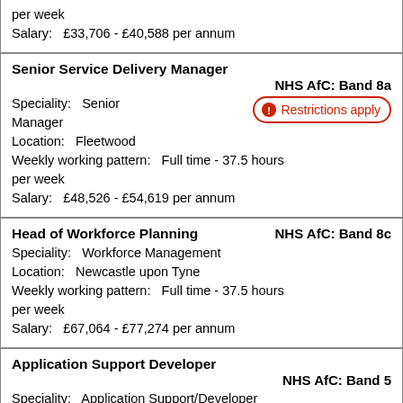per week
Salary:   £33,706 - £40,588 per annum
Senior Service Delivery Manager
NHS AfC: Band 8a
Speciality:   Senior Manager
Location:   Fleetwood
Weekly working pattern:   Full time - 37.5 hours per week
Salary:   £48,526 - £54,619 per annum
Head of Workforce Planning   NHS AfC: Band 8c
Speciality:   Workforce Management
Location:   Newcastle upon Tyne
Weekly working pattern:   Full time - 37.5 hours per week
Salary:   £67,064 - £77,274 per annum
Application Support Developer
NHS AfC: Band 5
Speciality:   Application Support/Developer
Location:   Newcastle upon Tyne
Weekly working pattern:   Full time - 37.5 hours per week